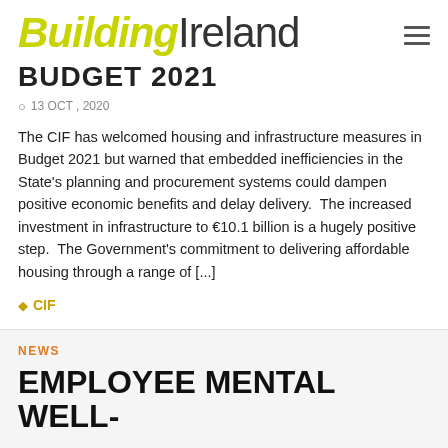Building Ireland
BUDGET 2021
13 OCT , 2020
The CIF has welcomed housing and infrastructure measures in Budget 2021 but warned that embedded inefficiencies in the State's planning and procurement systems could dampen positive economic benefits and delay delivery.  The increased investment in infrastructure to €10.1 billion is a hugely positive step.  The Government's commitment to delivering affordable housing through a range of [...]
CIF
NEWS
EMPLOYEE MENTAL WELL-